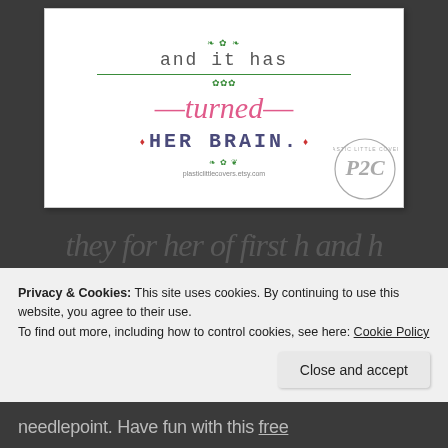[Figure (illustration): Cross-stitch style decorative art print showing text 'and it has turned HER BRAIN.' with green floral/vine decorations, pink italic 'turned', dark blue-grey 'HER BRAIN.' in cross-stitch font, with a P2C (Plastic Little Covers) watermark logo in the bottom right corner. URL 'plasticlittlecovers.etsy.com' shown at bottom.]
Privacy & Cookies: This site uses cookies. By continuing to use this website, you agree to their use.
To find out more, including how to control cookies, see here: Cookie Policy
Close and accept
needlepoint. Have fun with this free